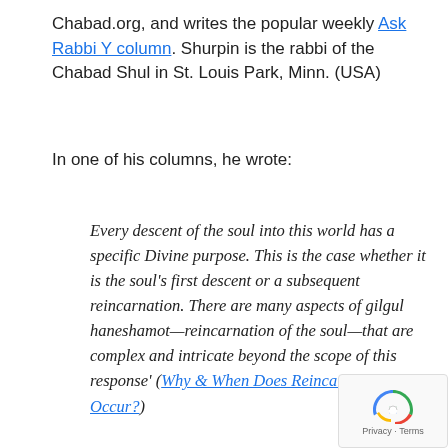Chabad.org, and writes the popular weekly Ask Rabbi Y column. Shurpin is the rabbi of the Chabad Shul in St. Louis Park, Minn. (USA)
In one of his columns, he wrote:
Every descent of the soul into this world has a specific Divine purpose. This is the case whether it is the soul's first descent or a subsequent reincarnation. There are many aspects of gilgul haneshamot—reincarnation of the soul—that are complex and intricate beyond the scope of this response' (Why & When Does Reincarnation Occur?)
[Figure (other): reCAPTCHA badge with spinning arrows icon and Privacy - Terms text]